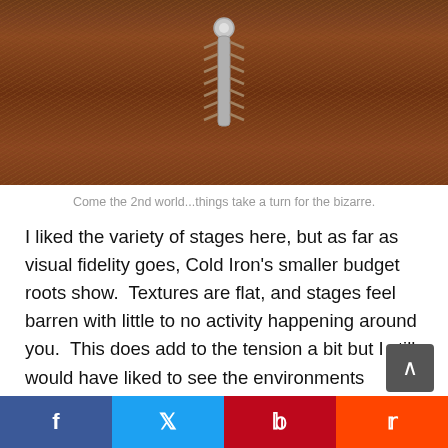[Figure (photo): Overhead view of a zipper pull against a dark reddish-brown hay or straw textured background, center of image]
Come the 2nd world...things take a turn for the bizarre.
I liked the variety of stages here, but as far as visual fidelity goes, Cold Iron's smaller budget roots show.  Textures are flat, and stages feel barren with little to no activity happening around you.  This does add to the tension a bit but I still would have liked to see the environments fleshed out a bit more.  As I said the enemies before you come in a variety of shapes and sizes and look decent, though once again, nothing to write home about.  Everything here does the job, and thankfully given the simplicity of the game, that's all that's needed.  There are some cinematics that take place in between each stage
f   Twitter   P   Reddit